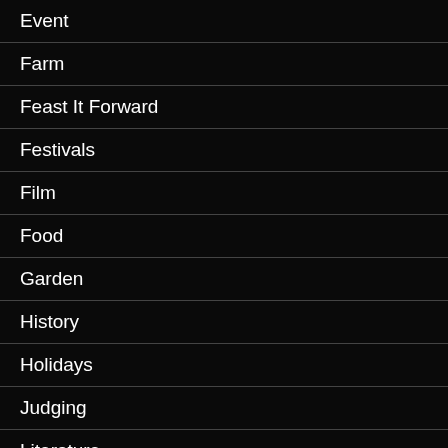Event
Farm
Feast It Forward
Festivals
Film
Food
Garden
History
Holidays
Judging
Literature
Marijuana
Music